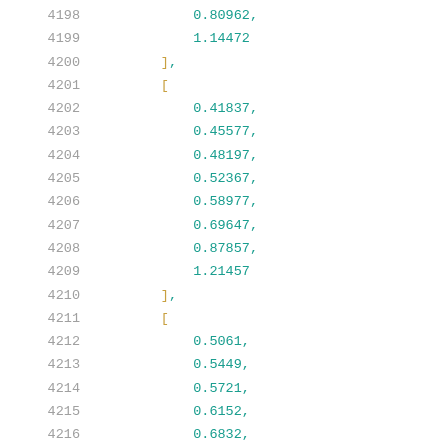4198    0.80962,
4199    1.14472
4200    ],
4201    [
4202        0.41837,
4203        0.45577,
4204        0.48197,
4205        0.52367,
4206        0.58977,
4207        0.69647,
4208        0.87857,
4209        1.21457
4210    ],
4211    [
4212        0.5061,
4213        0.5449,
4214        0.5721,
4215        0.6152,
4216        0.6832,
4217        0.7923,
4218        0.9764,
4219        1.314...